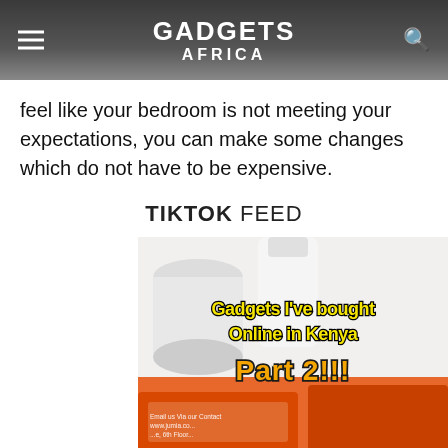GADGETS AFRICA
feel like your bedroom is not meeting your expectations, you can make some changes which do not have to be expensive.
TIKTOK FEED
[Figure (photo): TikTok thumbnail showing gadgets bought online in Kenya, with text overlays: 'Gadgets I've bought Online in Kenya' in yellow and 'Part 2!!!' in orange, on a background of white and orange product packaging.]